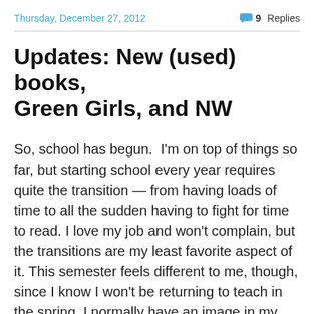Thursday, December 27, 2012   💬 9 Replies
Updates: New (used) books, Green Girls, and NW
So, school has begun.  I'm on top of things so far, but starting school every year requires quite the transition — from having loads of time to all the sudden having to fight for time to read. I love my job and won't complain, but the transitions are my least favorite aspect of it. This semester feels different to me, though, since I know I won't be returning to teach in the spring. I normally have an image in my mind of the teaching year running from September to May, but now it's only September to December, and then — everything changes, so people keep telling me...